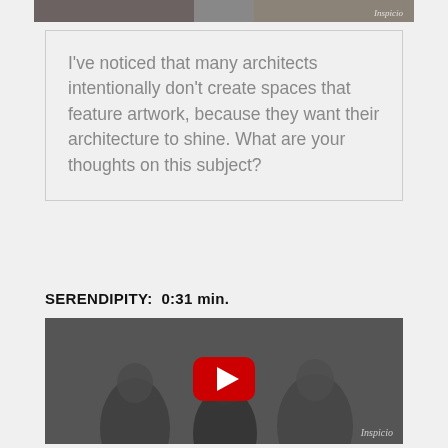[Figure (photo): Partial photo at top of page, cropped, showing people, with Inspicio watermark in top right corner]
I've noticed that many architects intentionally don't create spaces that feature artwork, because they want their architecture to shine. What are your thoughts on this subject?
SERENDIPITY:  0:31 min.
[Figure (screenshot): YouTube video thumbnail showing GWDI 9, with Inspicio logo circle on left, play button in center, people sitting in background, Inspicio watermark bottom right]